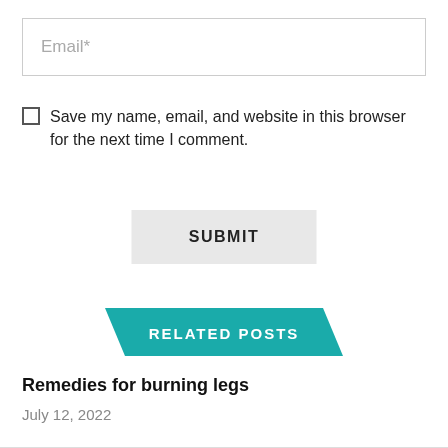Email*
Save my name, email, and website in this browser for the next time I comment.
SUBMIT
RELATED POSTS
Remedies for burning legs
July 12, 2022